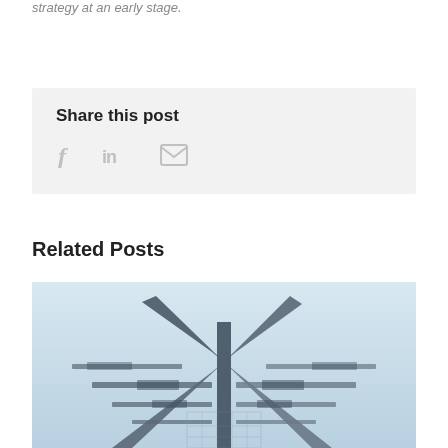strategy at an early stage.
Share this post
[Figure (infographic): Share icons: Facebook (f), LinkedIn (in), Email (envelope)]
Related Posts
[Figure (photo): Black and white architectural photo of a modern building viewed from below, showing geometric steel/concrete structural elements forming an X pattern with horizontal beams extending outward]